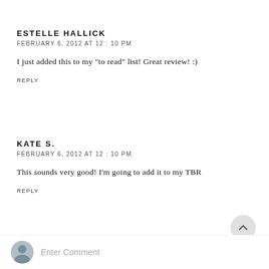ESTELLE HALLICK
FEBRUARY 6, 2012 AT 12:10 PM
I just added this to my "to read" list! Great review! :)
REPLY
KATE S.
FEBRUARY 6, 2012 AT 12:10 PM
This sounds very good! I'm going to add it to my TBR
REPLY
Enter Comment